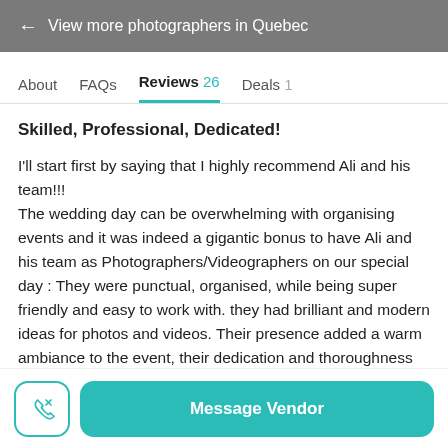← View more photographers in Quebec
About   FAQs   Reviews 26   Deals 1
Skilled, Professional, Dedicated!
I'll start first by saying that I highly recommend Ali and his team!!!
The wedding day can be overwhelming with organising events and it was indeed a gigantic bonus to have Ali and his team as Photographers/Videographers on our special day : They were punctual, organised, while being super friendly and easy to work with. they had brilliant and modern ideas for photos and videos. Their presence added a warm ambiance to the event, their dedication and thoroughness